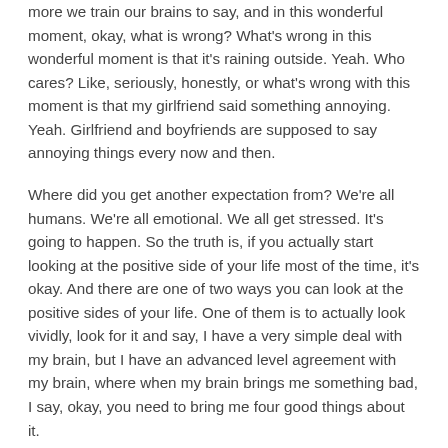more we train our brains to say, and in this wonderful moment, okay, what is wrong? What's wrong in this wonderful moment is that it's raining outside. Yeah. Who cares? Like, seriously, honestly, or what's wrong with this moment is that my girlfriend said something annoying. Yeah. Girlfriend and boyfriends are supposed to say annoying things every now and then.
Where did you get another expectation from? We're all humans. We're all emotional. We all get stressed. It's going to happen. So the truth is, if you actually start looking at the positive side of your life most of the time, it's okay. And there are one of two ways you can look at the positive sides of your life. One of them is to actually look vividly, look for it and say, I have a very simple deal with my brain, but I have an advanced level agreement with my brain, where when my brain brings me something bad, I say, okay, you need to bring me four good things about it.